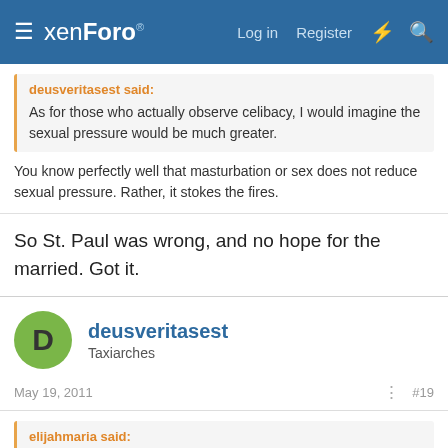xenForo — Log in  Register
deusveritasest said: As for those who actually observe celibacy, I would imagine the sexual pressure would be much greater.
You know perfectly well that masturbation or sex does not reduce sexual pressure. Rather, it stokes the fires.
So St. Paul was wrong, and no hope for the married. Got it.
deusveritasest
Taxiarches
May 19, 2011  #19
elijahmaria said: Seems to me that is rather simplistic to think that people who exercise their sexuality with children do not do so with adults as well...